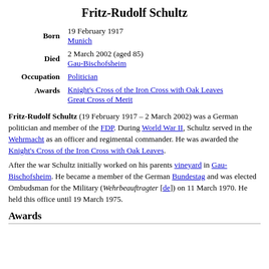Fritz-Rudolf Schultz
| Field | Value |
| --- | --- |
| Born | 19 February 1917
Munich |
| Died | 2 March 2002 (aged 85)
Gau-Bischofsheim |
| Occupation | Politician |
| Awards | Knight's Cross of the Iron Cross with Oak Leaves
Great Cross of Merit |
Fritz-Rudolf Schultz (19 February 1917 – 2 March 2002) was a German politician and member of the FDP. During World War II, Schultz served in the Wehrmacht as an officer and regimental commander. He was awarded the Knight's Cross of the Iron Cross with Oak Leaves.
After the war Schultz initially worked on his parents vineyard in Gau-Bischofsheim. He became a member of the German Bundestag and was elected Ombudsman for the Military (Wehrbeauftragter [de]) on 11 March 1970. He held this office until 19 March 1975.
Awards